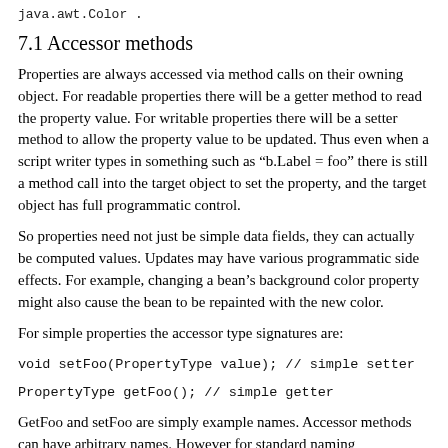java.awt.Color .
7.1 Accessor methods
Properties are always accessed via method calls on their owning object. For readable properties there will be a getter method to read the property value. For writable properties there will be a setter method to allow the property value to be updated. Thus even when a script writer types in something such as “b.Label = foo” there is still a method call into the target object to set the property, and the target object has full programmatic control.
So properties need not just be simple data fields, they can actually be computed values. Updates may have various programmatic side effects. For example, changing a bean’s background color property might also cause the bean to be repainted with the new color.
For simple properties the accessor type signatures are:
void setFoo(PropertyType value); // simple setter
PropertyType getFoo(); // simple getter
GetFoo and setFoo are simply example names. Accessor methods can have arbitrary names. However for standard naming conventions for accessor methods see the design patterns do